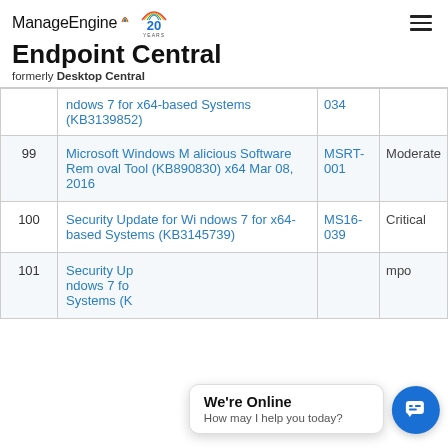ManageEngine Endpoint Central — formerly Desktop Central
| # | Update Name | Bulletin | Severity |
| --- | --- | --- | --- |
|  | ndows 7 for x64-based Systems (KB3139852) | 034 |  |
| 99 | Microsoft Windows Malicious Software Removal Tool (KB890830) x64 Mar 08, 2016 | MSRT-001 | Moderate |
| 100 | Security Update for Windows 7 for x64-based Systems (KB3145739) | MS16-039 | Critical |
| 101 | Security Up... ndows 7 fo... Systems (K... | — | mpo... |
We're Online — How may I help you today?